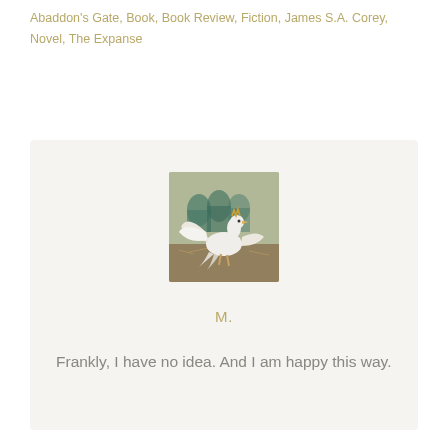Abaddon's Gate, Book, Book Review, Fiction, James S.A. Corey, Novel, The Expanse
[Figure (photo): A square photo of a white bird (swan or goose) with wings spread, set against a background of archways and outdoor scenery]
M.
Frankly, I have no idea. And I am happy this way.